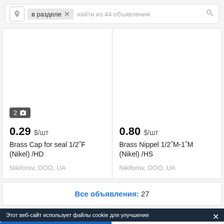[Figure (screenshot): Search bar with location icon, 'в разделе' tag with X, placeholder 'найти из 44 объявления', and search icon]
[Figure (screenshot): Product card: price 0.29 $/шт, Brass Cap for seal 1/2F (Nikel) /HD, seller Nikiforov, ООО, UA. Photo badge showing 2 photos.]
[Figure (screenshot): Product card: price 0.80 $/шт, Brass Nippel 1/2M-1M (Nikel) /HS, seller Nikiforov, ООО, UA.]
Все объявления: 27
Этот веб-сайт использует файлы cookie для улучшения
Показать телефон
Написать сообщение